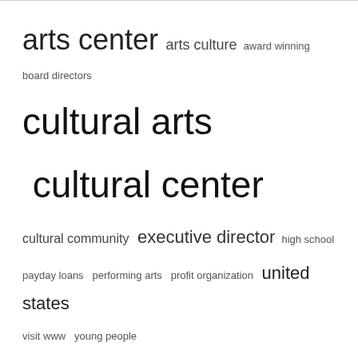arts center  arts culture  award winning  board directors  cultural arts  cultural center  cultural community  executive director  high school  payday loans  performing arts  profit organization  united states  visit www  young people
Privacy Policy  Terms And Conditions
© 2022 - Shul 21. All Rights Reserved.
Website Design: BetterStudio